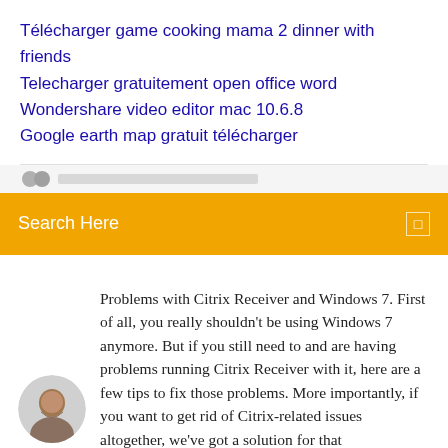Télécharger game cooking mama 2 dinner with friends
Telecharger gratuitement open office word
Wondershare video editor mac 10.6.8
Google earth map gratuit télécharger
[Figure (screenshot): Partially visible blurred navigation bar with text 'Reviews and Related Synonyms...']
[Figure (screenshot): Orange search bar with 'Search Here' placeholder text and a small square icon on the right]
Problems with Citrix Receiver and Windows 7. First of all, you really shouldn't be using Windows 7 anymore. But if you still need to and are having problems running Citrix Receiver with it, here are a few tips to fix those problems. More importantly, if you want to get rid of Citrix-related issues altogether, we've got a solution for that
[Figure (photo): Circular avatar photo of a man]
23/05/2019 · This video shows you how to solve